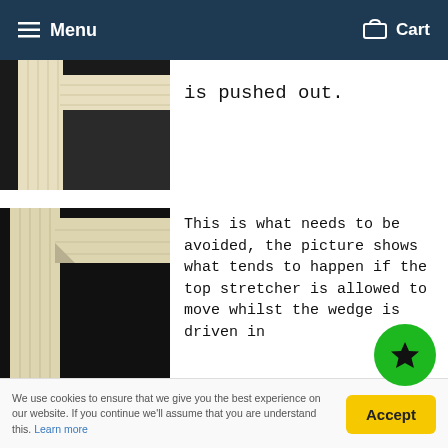Menu   Cart
[Figure (photo): Close-up photo of wooden canvas stretcher frame corner joint, dark background, showing cream-coloured wood pieces.]
is pushed out.
[Figure (photo): Photo of a wooden canvas stretcher corner showing what happens when the top stretcher moves while the wedge is driven in — the joint is misaligned.]
This is what needs to be avoided, the picture shows what tends to happen if the top stretcher is allowed to move whilst the wedge is driven in
To re-tighten the canvas:
We use cookies to ensure that we give you the best experience on our website. If you continue we'll assume that you are understand this. Learn more